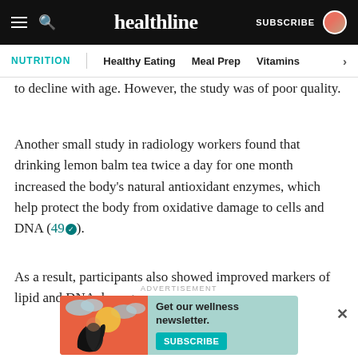healthline — NUTRITION | Healthy Eating | Meal Prep | Vitamins
to decline with age. However, the study was of poor quality.
Another small study in radiology workers found that drinking lemon balm tea twice a day for one month increased the body's natural antioxidant enzymes, which help protect the body from oxidative damage to cells and DNA (49).
As a result, participants also showed improved markers of lipid and DNA damage.
[Figure (infographic): Advertisement banner: 'Get our wellness newsletter.' with a SUBSCRIBE button on a teal/aqua background with illustrated woman graphic.]